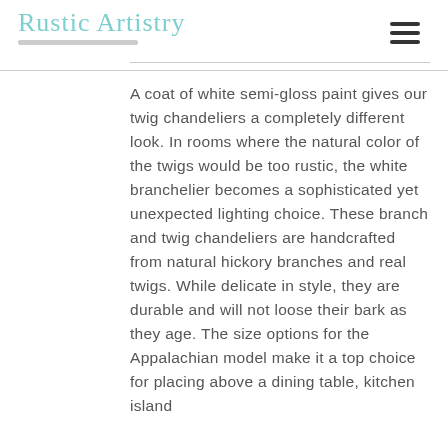Rustic Artistry
A coat of white semi-gloss paint gives our twig chandeliers a completely different look. In rooms where the natural color of the twigs would be too rustic, the white branchelier becomes a sophisticated yet unexpected lighting choice. These branch and twig chandeliers are handcrafted from natural hickory branches and real twigs. While delicate in style, they are durable and will not loose their bark as they age. The size options for the Appalachian model make it a top choice for placing above a dining table, kitchen island